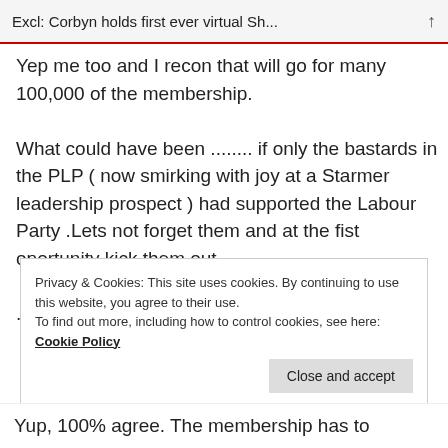Excl: Corbyn holds first ever virtual Sh...
Yep me too and I recon that will go for many 100,000 of the membership.
What could have been ........ if only the bastards in the PLP ( now smirking with joy at a Starmer leadership prospect ) had supported the Labour Party .Lets not forget them and at the fist oportunity kick them out
.
Privacy & Cookies: This site uses cookies. By continuing to use this website, you agree to their use.
To find out more, including how to control cookies, see here: Cookie Policy
Yup, 100% agree. The membership has to